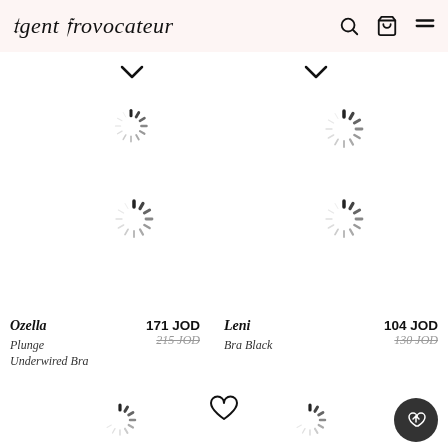Agent Provocateur
[Figure (screenshot): Loading spinners for product images in two-column grid layout]
Ozella 171 JOD Plunge Underwired Bra 215 JOD
Leni 104 JOD Bra Black 130 JOD
[Figure (screenshot): Bottom row with heart wishlist icon, loading spinners, and back-to-top button]